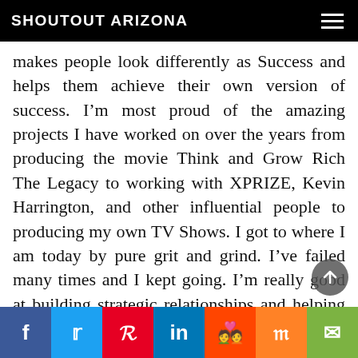SHOUTOUT ARIZONA
makes people look differently as Success and helps them achieve their own version of success. I’m most proud of the amazing projects I have worked on over the years from producing the movie Think and Grow Rich The Legacy to working with XPRIZE, Kevin Harrington, and other influential people to producing my own TV Shows. I got to where I am today by pure grit and grind. I’ve failed many times and I kept going. I’m really good at building strategic relationships and helping companies grow their brand and revenue. Because of my abilities, it has led me to some big wins!